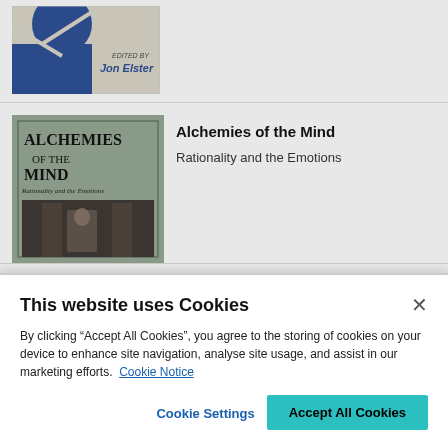[Figure (photo): Book cover partially visible at top: edited by Jon Elster, with blue and grey design, Cambridge University Press logo]
[Figure (photo): Book cover of 'Alchemies of the Mind: Rationality and the Emotions' showing dark tones with a figure in a room]
Alchemies of the Mind
Rationality and the Emotions
This website uses Cookies
By clicking “Accept All Cookies”, you agree to the storing of cookies on your device to enhance site navigation, analyse site usage, and assist in our marketing efforts. Cookie Notice
Cookie Settings
Accept All Cookies